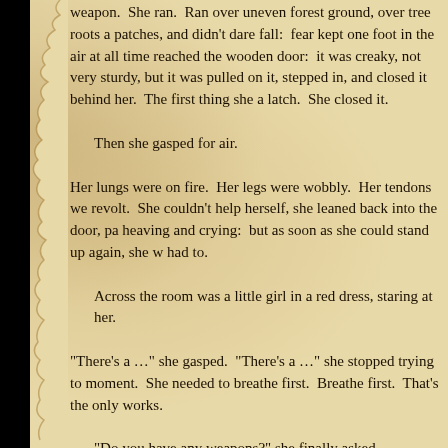weapon.  She ran.  Ran over uneven forest ground, over tree roots a patches, and didn't dare fall:  fear kept one foot in the air at all time reached the wooden door:  it was creaky, not very sturdy, but it was pulled on it, stepped in, and closed it behind her.  The first thing she a latch.  She closed it.
Then she gasped for air.
Her lungs were on fire.  Her legs were wobbly.  Her tendons we revolt.  She couldn't help herself, she leaned back into the door, pa heaving and crying:  but as soon as she could stand up again, she w had to.
Across the room was a little girl in a red dress, staring at her.
“There’s a …” she gasped.  “There’s a …” she stopped trying to moment.  She needed to breathe first.  Breathe first.  That’s the only works.
“Do you have any weapons?” she finally asked.
The girl pointed to the cold fireplace.  There were pokers.  The